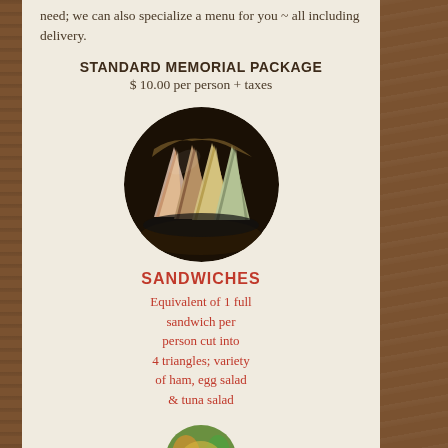need; we can also specialize a menu for you ~ all including delivery.
STANDARD MEMORIAL PACKAGE
$ 10.00 per person + taxes
[Figure (photo): Circular photo of assorted finger sandwiches cut into triangles arranged on a dark plate]
SANDWICHES
Equivalent of 1 full sandwich per person cut into 4 triangles; variety of ham, egg salad & tuna salad
[Figure (photo): Partial circular photo at bottom edge showing colorful food items]